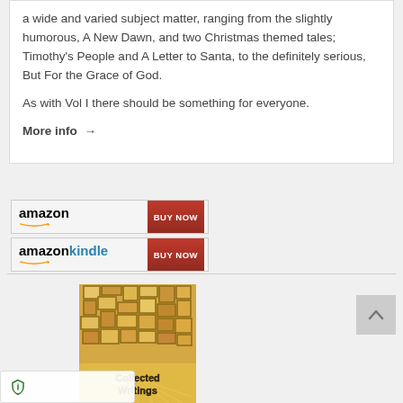a wide and varied subject matter, ranging from the slightly humorous, A New Dawn, and two Christmas themed tales; Timothy's People and A Letter to Santa, to the definitely serious, But For the Grace of God.
As with Vol I there should be something for everyone.
More info →
[Figure (screenshot): Amazon 'BUY NOW' button with amazon logo and orange arrow]
[Figure (screenshot): Amazon Kindle 'BUY NOW' button with amazon kindle logo and orange arrow]
[Figure (illustration): Book cover image showing 'Collected Writings' text on a mosaic/brick-like golden background with rays of light]
[Figure (other): Scroll to top button (grey square with up arrow)]
[Figure (other): Privacy shield icon bar at bottom left]